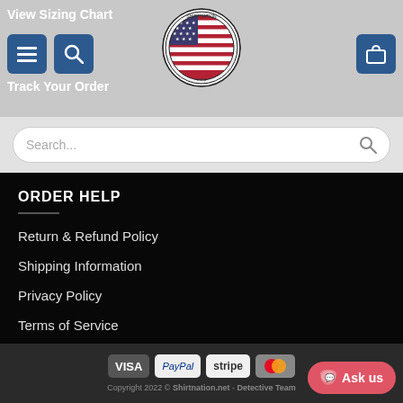View Sizing Chart
Track Your Order
[Figure (logo): ShirtNation circular logo with American flag in center]
Search...
ORDER HELP
Return & Refund Policy
Shipping Information
Privacy Policy
Terms of Service
Copyright 2022 © Shirtnation.net - Detective Team